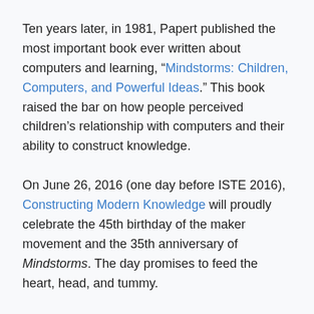Ten years later, in 1981, Papert published the most important book ever written about computers and learning, “Mindstorms: Children, Computers, and Powerful Ideas.” This book raised the bar on how people perceived children’s relationship with computers and their ability to construct knowledge.
On June 26, 2016 (one day before ISTE 2016), Constructing Modern Knowledge will proudly celebrate the 45th birthday of the maker movement and the 35th anniversary of Mindstorms. The day promises to feed the heart, head, and tummy.